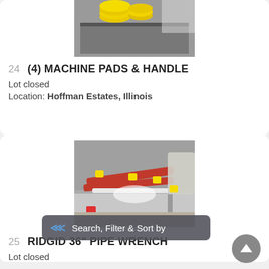[Figure (photo): Photo of machine pads and handle on a gray metal surface, with yellow price tags visible]
24  (4) MACHINE PADS & HANDLE
Lot closed
Location: Hoffman Estates, Illinois
[Figure (photo): Photo of a Ridgid 36 inch pipe wrench and other tools on a metal shelf, with yellow auction tags]
Search, Filter & Sort by
25  RIDGID 36" PIPE WRENCH
Lot closed